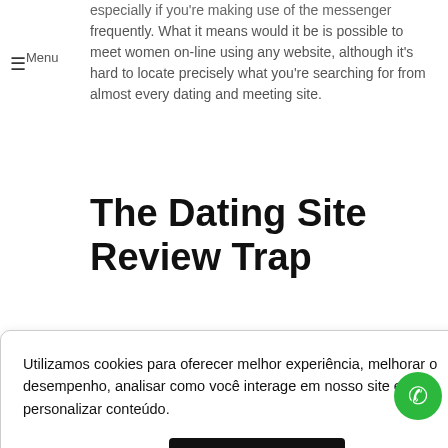especially if you're making use of the messenger
≡ Menu
frequently. What it means would it be is possible to meet women on-line using any website, although it's hard to locate precisely what you're searching for from almost every dating and meeting site.
The Dating Site Review Trap
ey
le.
xual
Utilizamos cookies para oferecer melhor experiência, melhorar o desempenho, analisar como você interage em nosso site e personalizar conteúdo.
Recusar Cookies
Aceitar Cookies
but that you would be very happy to share an image